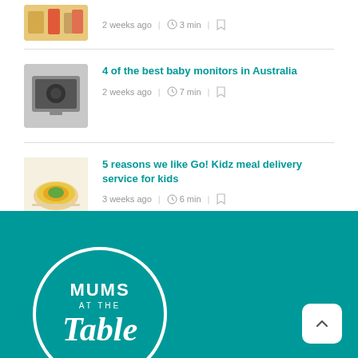[Figure (photo): Partial thumbnail image of groceries/food items at top]
2 weeks ago | 3 min |
[Figure (photo): Thumbnail of a baby monitor or phone showing baby]
4 of the best baby monitors in Australia
2 weeks ago | 7 min |
[Figure (photo): Thumbnail of meal with vegetables and food plate]
5 reasons we like Go! Kidz meal delivery service for kids
3 weeks ago | 6 min |
[Figure (logo): Mums at the Table logo — white circle with MUMS AT THE Table text on teal background]